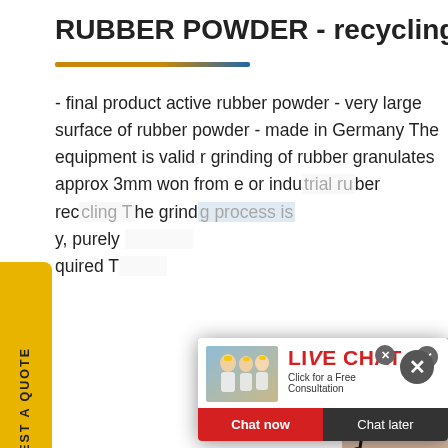RUBBER POWDER - recycling-rubber
- final product active rubber powder - very large surface of rubber powder - made in Germany The equipment is valid r grinding of rubber granulates approx 3mm won from e or indu trial rubber rec cling The grind g process is y, purely quired T
[Figure (infographic): Live Chat popup overlay with workers in hard hats image, 'LIVE CHAT - Click for a Free Consultation' text in red, Chat now (red) and Chat later (dark) buttons, and close X button]
[Figure (photo): Woman with headset smiling, customer service representative]
[Figure (infographic): Yellow vertical sidebar button with text 'REQUEST A QUOTE' rotated vertically]
[Figure (photo): Outdoor industrial/mining equipment scene with trees and blue sky]
[Figure (infographic): Dark blue box with italic text 'Have any requests, click here.' with arrow icon and gold Quotation button below]